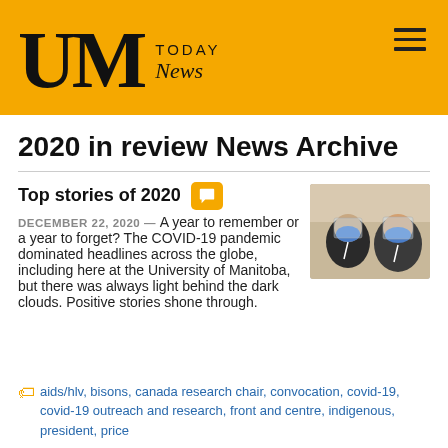UM TODAY News
2020 in review News Archive
Top stories of 2020
[Figure (photo): Two healthcare workers wearing blue face masks and face shields, in a selfie-style photo]
DECEMBER 22, 2020 — A year to remember or a year to forget? The COVID-19 pandemic dominated headlines across the globe, including here at the University of Manitoba, but there was always light behind the dark clouds. Positive stories shone through.
aids/hlv, bisons, canada research chair, convocation, covid-19, covid-19 outreach and research, front and centre, indigenous, president, price